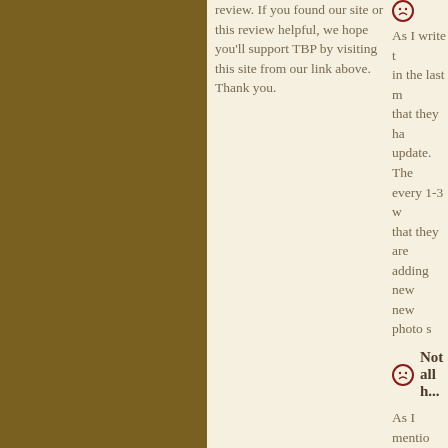[Figure (other): Brown/olive colored sidebar on the left third of the page]
review. If you found our site or this review helpful, we hope you'll support TBP by visiting this site from our link above. Thank you.
As I write t... in the last m... that they ha... update. The... every 1-3 w... that they are... adding new... new photo s...
Not all h...
As I mentio... about video... HD. But tha... and those (t... poor to aver...
Minor Nega...
It's ki... playin... trying... not a... a very...